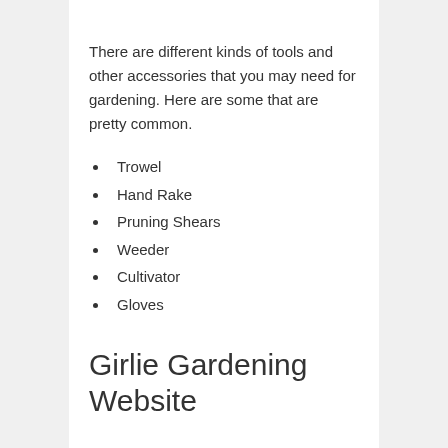There are different kinds of tools and other accessories that you may need for gardening. Here are some that are pretty common.
Trowel
Hand Rake
Pruning Shears
Weeder
Cultivator
Gloves
Girlie Gardening Website